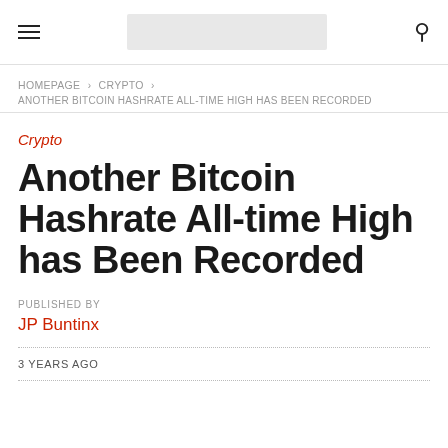[hamburger menu] [logo placeholder] [search icon]
HOMEPAGE > CRYPTO > ANOTHER BITCOIN HASHRATE ALL-TIME HIGH HAS BEEN RECORDED
Crypto
Another Bitcoin Hashrate All-time High has Been Recorded
PUBLISHED BY
JP Buntinx
3 YEARS AGO